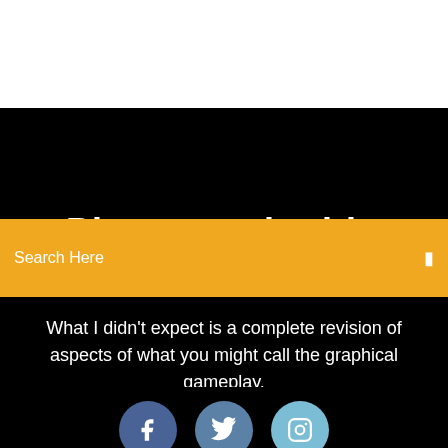Photography blog
Search Here
What I didn't expect is a complete revision of aspects of what you might call the graphical gameplay.
[Figure (illustration): Three social media icons: Facebook (dark blue circle), Twitter (medium blue circle), Instagram (light blue circle)]
Morrowind Firemoth Expanded Mod Download
Google Home App Wont Download
Download Apk For Google Maps 9 67